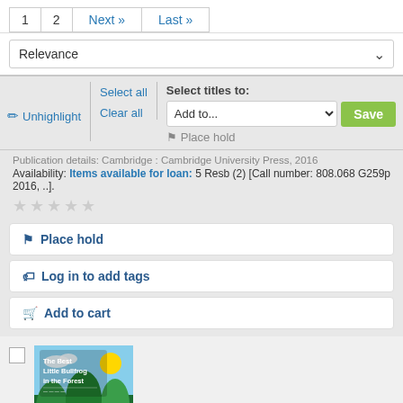1  2  Next »  Last »
Relevance
✏ Unhighlight  |  Select all  |  Clear all  |  Select titles to:  Add to...  Save  ☰ Place hold
Publication details: Cambridge : Cambridge University Press, 2016
Availability: Items available for loan: 5 Resb (2) [Call number: 808.068 G259p 2016, ..].
★★★★★ (empty stars)
🔖 Place hold
🏷 Log in to add tags
🛒 Add to cart
[Figure (illustration): Book cover: The Best Little Bullfrog in the Forest, colorful illustrated children's book cover with forest and animal imagery]